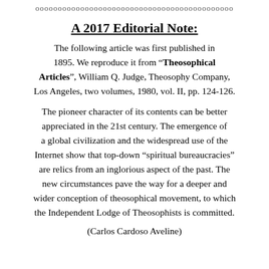oooooooooooooooooooooooooooooooooooooooooooo
A 2017 Editorial Note:
The following article was first published in 1895. We reproduce it from “Theosophical Articles”, William Q. Judge, Theosophy Company, Los Angeles, two volumes, 1980, vol. II, pp. 124-126.
The pioneer character of its contents can be better appreciated in the 21st century. The emergence of a global civilization and the widespread use of the Internet show that top-down “spiritual bureaucracies” are relics from an inglorious aspect of the past. The new circumstances pave the way for a deeper and wider conception of theosophical movement, to which the Independent Lodge of Theosophists is committed.
(Carlos Cardoso Aveline)